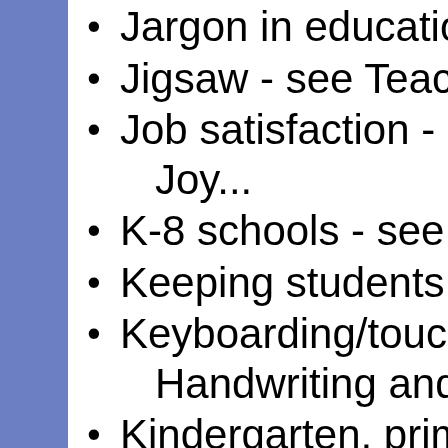Jargon in education
Jigsaw - see Teach
Job satisfaction - s Joy...
K-8 schools - see M
Keeping students b
Keyboarding/touch Handwriting and ke
Kindergarten, prim
Laptops - see Tech